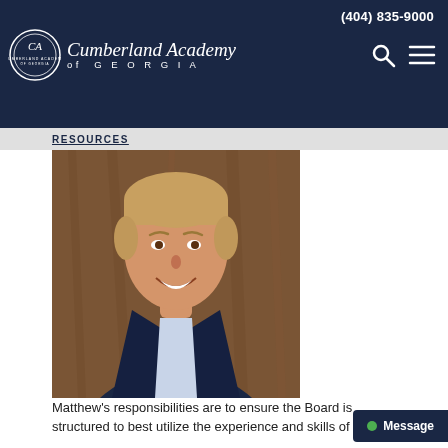(404) 835-9000
[Figure (logo): Cumberland Academy of Georgia logo with circular seal and script text]
RESOURCES
[Figure (photo): Professional headshot of a middle-aged man with blondish-gray hair wearing a dark navy suit and light blue dress shirt, smiling, against a wooden background]
Matthew's responsibilities are to ensure the Board is structured to best utilize the experience and skills of our